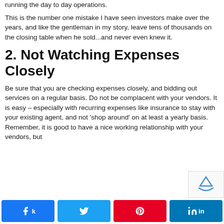running the day to day operations.
This is the number one mistake I have seen investors make over the years, and like the gentleman in my story, leave tens of thousands on the closing table when he sold...and never even knew it.
2. Not Watching Expenses Closely
Be sure that you are checking expenses closely, and bidding out services on a regular basis. Do not be complacent with your vendors. It is easy – especially with recurring expenses like insurance to stay with your existing agent, and not 'shop around' on at least a yearly basis. Remember, it is good to have a nice working relationship with your vendors, but